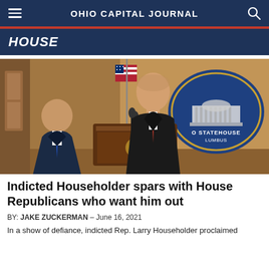OHIO CAPITAL JOURNAL
HOUSE
[Figure (photo): Two men in suits at a podium with an Ohio Statehouse Columbus sign in the background and an American flag. The man at the podium wears a red tie and dark suit.]
Indicted Householder spars with House Republicans who want him out
BY: JAKE ZUCKERMAN - June 16, 2021
In a show of defiance, indicted Rep. Larry Householder proclaimed